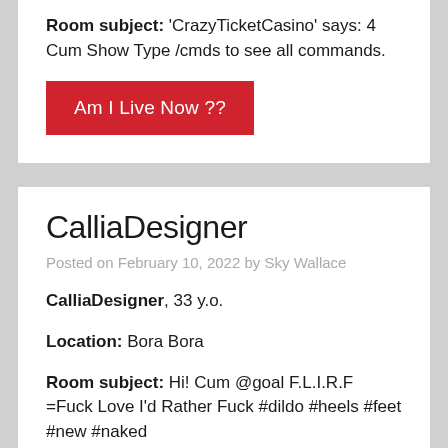Room subject: 'CrazyTicketCasino' says: 4 Cum Show Type /cmds to see all commands.
Am I Live Now ??
CalliaDesigner
Posted on February 10, 2022 by Sky Wallace
CalliaDesigner, 33 y.o.
Location: Bora Bora
Room subject: Hi! Cum @goal F.L.I.R.F =Fuck Love I'd Rather Fuck #dildo #heels #feet #new #naked